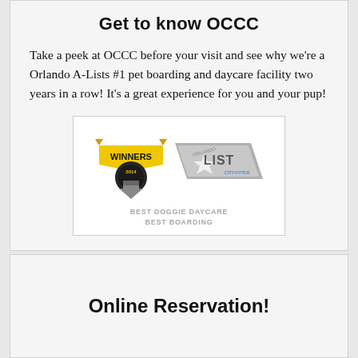Get to know OCCC
Take a peek at OCCC before your visit and see why we're a Orlando A-Lists #1 pet boarding and daycare facility two years in a row! It's a great experience for you and your pup!
[Figure (logo): Winners 2014 award badge with ribbon and A-List cityvoter logo. Text reads BEST DOGGIE DAYCARE BEST BOARDING.]
Online Reservation!